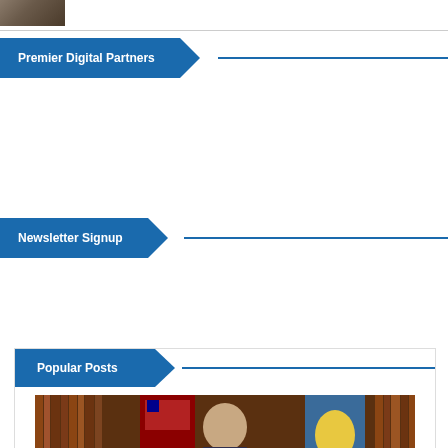[Figure (photo): Partial photo of a person, cropped at top of page]
Premier Digital Partners
Newsletter Signup
Popular Posts
[Figure (photo): Man in suit sitting at desk with American flag and Delaware state flag, with law books in background, holding a certificate or document]